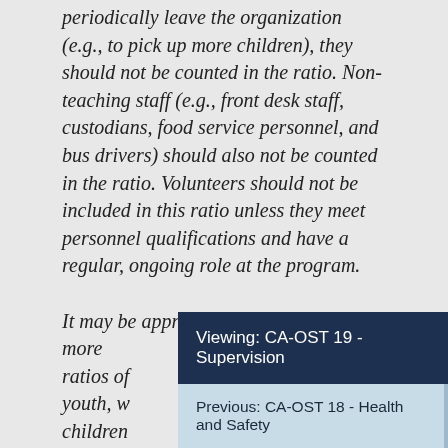periodically leave the organization (e.g., to pick up more children), they should not be counted in the ratio. Non-teaching staff (e.g., front desk staff, custodians, food service personnel, and bus drivers) should also not be counted in the ratio. Volunteers should not be included in this ratio unless they meet personnel qualifications and have a regular, ongoing role at the program.

It may be appropriate for there to be more ratios of youth, w children
Viewing: CA-OST 19 - Supervision
Previous: CA-OST 18 - Health and Safety